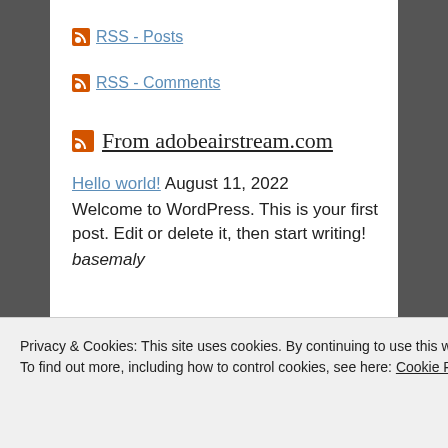RSS - Posts
RSS - Comments
From adobeairstream.com
Hello world! August 11, 2022
Welcome to WordPress. This is your first post. Edit or delete it, then start writing!
basemaly
Privacy & Cookies: This site uses cookies. By continuing to use this website, you agree to their use.
To find out more, including how to control cookies, see here: Cookie Policy
Close and accept